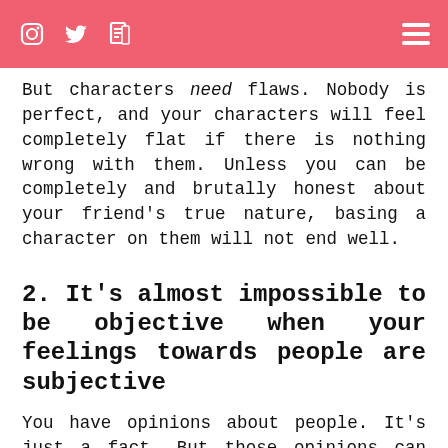[navigation bar with social icons and menu]
But characters need flaws. Nobody is perfect, and your characters will feel completely flat if there is nothing wrong with them. Unless you can be completely and brutally honest about your friend's true nature, basing a character on them will not end well.
2. It's almost impossible to be objective when your feelings towards people are subjective
You have opinions about people. It's just a fact. But those opinions can get in the way when you're writing a character based off a person you know.